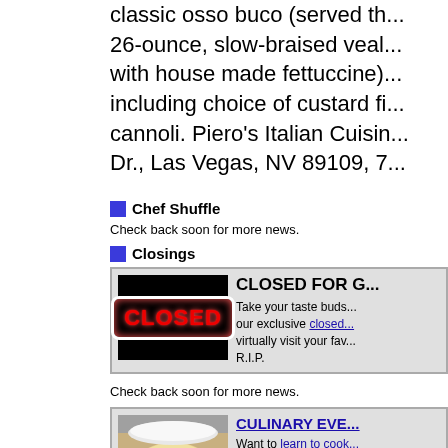classic osso buco (served th... 26-ounce, slow-braised veal... with house made fettuccine)... including choice of custard fi... cannoli. Piero's Italian Cuisin... Dr., Las Vegas, NV 89109, 7...
Chef Shuffle
Check back soon for more news.
Closings
[Figure (other): Card with CLOSED sign image and text: CLOSED FOR G... Take your taste buds... our exclusive closed... virtually visit your fav... R.I.P.]
Check back soon for more news.
[Figure (photo): Card with food photo (mussels/seafood dish) and text: CULINARY EVE... Want to learn to cook... fun? Check out our c...]